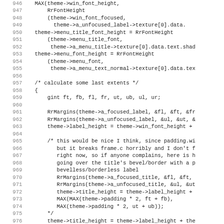[Figure (screenshot): Source code listing in monospace font showing C code lines 946-978, with line numbers on the left and code on the right. The code involves font height calculations and margin computations for a theming system.]